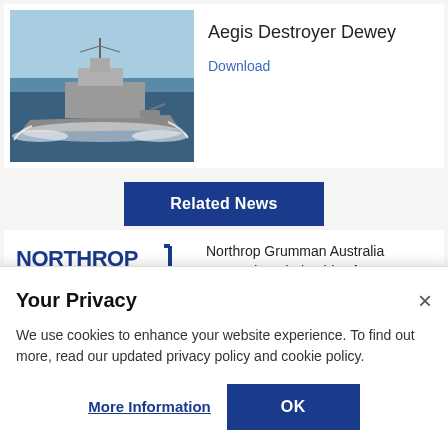[Figure (photo): Photograph of an Aegis Destroyer warship (Dewey) sailing at sea at speed, with wake visible]
Aegis Destroyer Dewey
Download
Related News
[Figure (logo): Northrop Grumman logo in blue with bracket symbol]
Northrop Grumman Australia Invests in Scholarships for
Your Privacy
We use cookies to enhance your website experience. To find out more, read our updated privacy policy and cookie policy.
More Information
OK